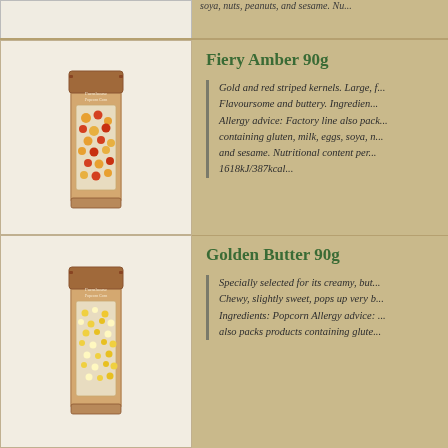soya, nuts, peanuts, and sesame. Nu...
[Figure (photo): Bag of Fiery Amber 90g popcorn kernels - gold and red striped kernels visible through transparent packaging with brown header]
Fiery Amber 90g
Gold and red striped kernels. Large, f... Flavoursome and buttery. Ingredien... Allergy advice: Factory line also pack... containing gluten, milk, eggs, soya, n... and sesame. Nutritional content per... 1618kJ/387kcal...
[Figure (photo): Bag of Golden Butter 90g popcorn kernels - small yellow and white kernels visible through transparent packaging with brown header]
Golden Butter 90g
Specially selected for its creamy, but... Chewy, slightly sweet, pops up very b... Ingredients: Popcorn Allergy advice: ... also packs products containing glute...